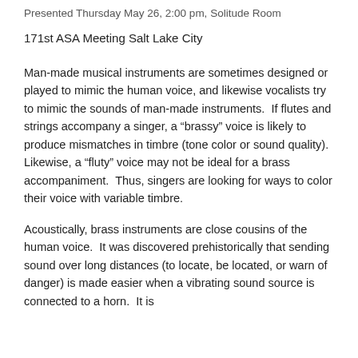Presented Thursday May 26, 2:00 pm, Solitude Room
171st ASA Meeting Salt Lake City
Man-made musical instruments are sometimes designed or played to mimic the human voice, and likewise vocalists try to mimic the sounds of man-made instruments.  If flutes and strings accompany a singer, a “brassy” voice is likely to produce mismatches in timbre (tone color or sound quality).  Likewise, a “fluty” voice may not be ideal for a brass accompaniment.  Thus, singers are looking for ways to color their voice with variable timbre.
Acoustically, brass instruments are close cousins of the human voice.  It was discovered prehistorically that sending sound over long distances (to locate, be located, or warn of danger) is made easier when a vibrating sound source is connected to a horn.  It is